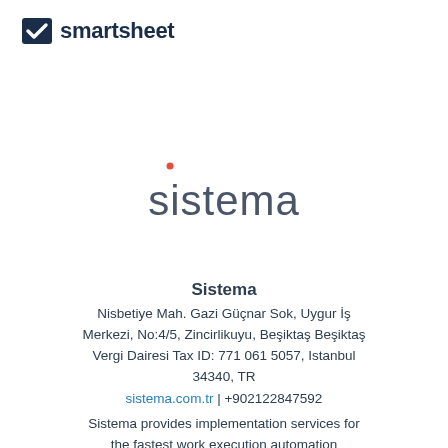[Figure (logo): Smartsheet logo: dark navy checkbox icon with checkmark followed by 'smartsheet' text in dark navy bold font]
[Figure (logo): Sistema logo: lowercase 'sistema' text in dark gray with a small red dot/superscript above the 'i']
Sistema
Nisbetiye Mah. Gazi Güçnar Sok, Uygur İş Merkezi, No:4/5, Zincirlikuyu, Beşiktaş Beşiktaş Vergi Dairesi Tax ID: 771 061 5057, Istanbul 34340, TR
sistema.com.tr | +902122847592
Sistema provides implementation services for the fastest work execution automation